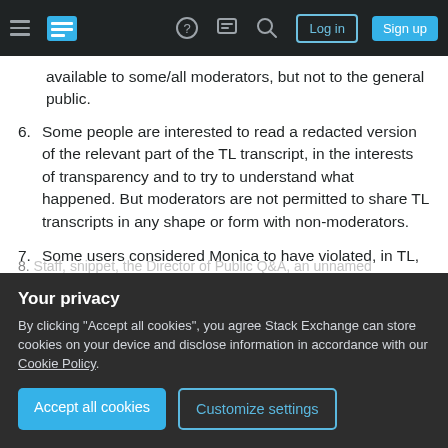Stack Exchange navigation bar with hamburger menu, logo, help icon, chat icon, search icon, Log in and Sign up buttons
available to some/all moderators, but not to the general public.
6. Some people are interested to read a redacted version of the relevant part of the TL transcript, in the interests of transparency and to try to understand what happened. But moderators are not permitted to share TL transcripts in any shape or form with non-moderators.
7. Some users considered Monica to have violated, in TL, the then Code of Conduct (CoC)
Your privacy
By clicking "Accept all cookies", you agree Stack Exchange can store cookies on your device and disclose information in accordance with our Cookie Policy.
Accept all cookies   Customize settings